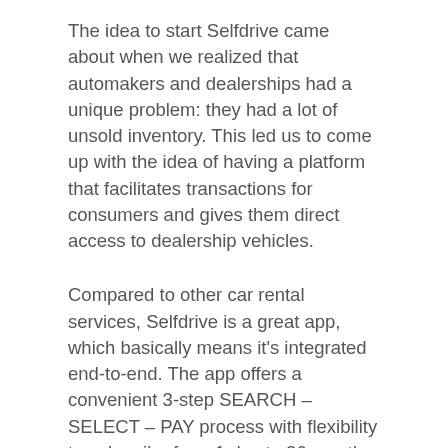The idea to start Selfdrive came about when we realized that automakers and dealerships had a unique problem: they had a lot of unsold inventory. This led us to come up with the idea of having a platform that facilitates transactions for consumers and gives them direct access to dealership vehicles.
Compared to other car rental services, Selfdrive is a great app, which basically means it’s integrated end-to-end. The app offers a convenient 3-step SEARCH – SELECT – PAY process with flexibility to subscribe from 1 day to 36 months.
Additionally, our AI integration helps us profile customers based on their specific needs. For example, if you are a registered customer on our platform and have driven a certain segment of a vehicle, say BMW – each time you return to the app, the appearance of the app usually changes to based on your customer profile. This helps us